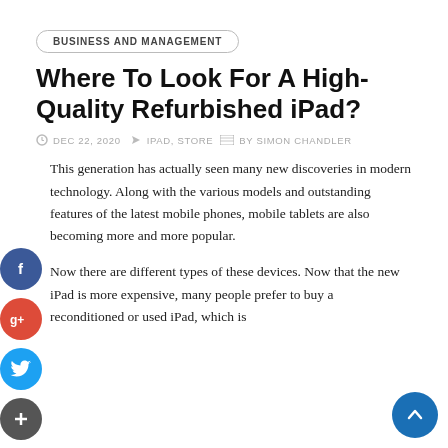BUSINESS AND MANAGEMENT
Where To Look For A High- Quality Refurbished iPad?
DEC 22, 2020  IPAD, STORE  BY SIMON CHANDLER
This generation has actually seen many new discoveries in modern technology. Along with the various models and outstanding features of the latest mobile phones, mobile tablets are also becoming more and more popular.
Now there are different types of these devices. Now that the new iPad is more expensive, many people prefer to buy a reconditioned or used iPad, which is